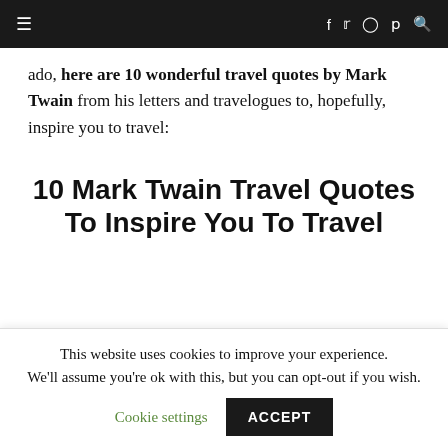≡  f  𝕏  ◻  𝗽  🔍
ado, here are 10 wonderful travel quotes by Mark Twain from his letters and travelogues to, hopefully, inspire you to travel:
10 Mark Twain Travel Quotes To Inspire You To Travel
This website uses cookies to improve your experience. We'll assume you're ok with this, but you can opt-out if you wish.  Cookie settings  ACCEPT